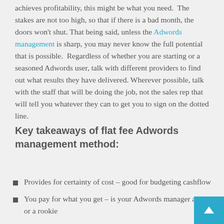achieves profitability, this might be what you need. The stakes are not too high, so that if there is a bad month, the doors won't shut. That being said, unless the Adwords management is sharp, you may never know the full potential that is possible. Regardless of whether you are starting or a seasoned Adwords user, talk with different providers to find out what results they have delivered. Wherever possible, talk with the staff that will be doing the job, not the sales rep that will tell you whatever they can to get you to sign on the dotted line.
Key takeaways of flat fee Adwords management method:
Provides for certainty of cost – good for budgeting cashflow
You pay for what you get – is your Adwords manager a gun or a rookie